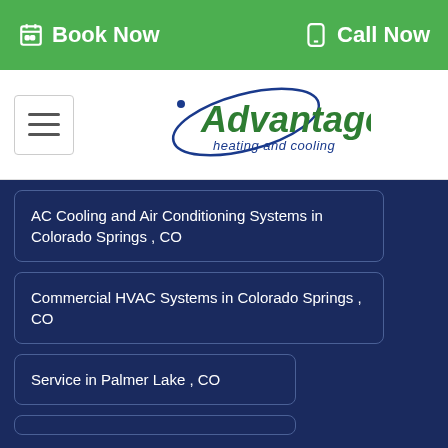Book Now   Call Now
[Figure (logo): Advantage heating and cooling logo with stylized orbit swoosh and green/blue text]
AC Cooling and Air Conditioning Systems in Colorado Springs , CO
Commercial HVAC Systems in Colorado Springs , CO
Service in Palmer Lake , CO